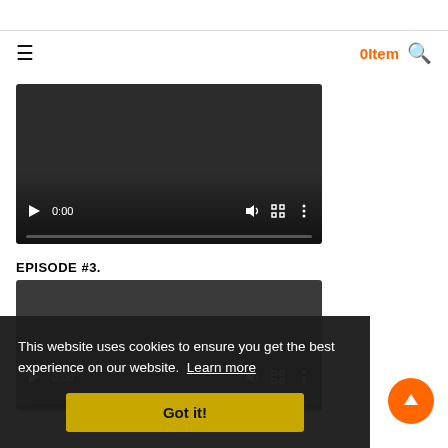0Item  🔍
[Figure (screenshot): Video player 1 showing 0:00, dark background with play button, volume, fullscreen, and more options controls, and a progress bar.]
EPISODE #3.
[Figure (screenshot): Video player 2 showing 0:00, dark background with play button, volume, fullscreen, and more options controls, and a progress bar.]
This website uses cookies to ensure you get the best experience on our website.  Learn more
Got it!